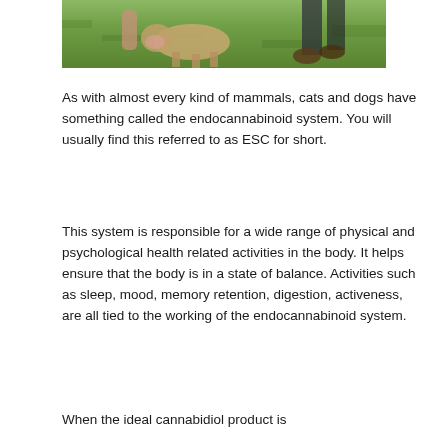[Figure (photo): Photo of a dog being examined or played with by a person on grass, partially cropped at top]
As with almost every kind of mammals, cats and dogs have something called the endocannabinoid system. You will usually find this referred to as ESC for short.
This system is responsible for a wide range of physical and psychological health related activities in the body. It helps ensure that the body is in a state of balance. Activities such as sleep, mood, memory retention, digestion, activeness, are all tied to the working of the endocannabinoid system.
When the ideal cannabidiol product is